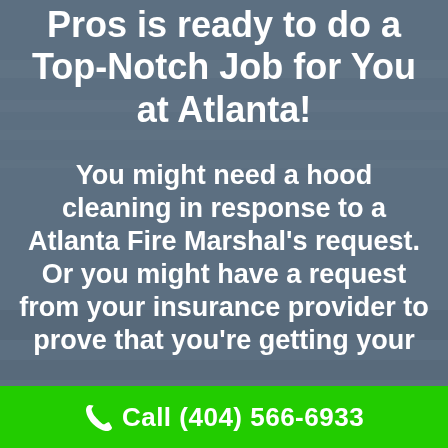Pros is ready to do a Top-Notch Job for You at Atlanta!
You might need a hood cleaning in response to a Atlanta Fire Marshal's request. Or you might have a request from your insurance provider to prove that you're getting your
Call (404) 566-6933